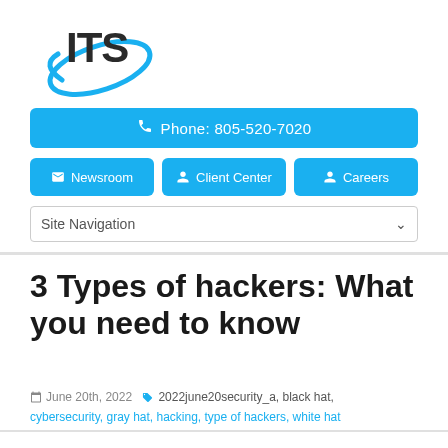[Figure (logo): ITS company logo with blue ellipse/orbit graphic and bold black ITS text]
Phone: 805-520-7020
Newsroom  Client Center  Careers
Site Navigation
3 Types of hackers: What you need to know
June 20th, 2022  2022june20security_a, black hat, cybersecurity, gray hat, hacking, type of hackers, white hat